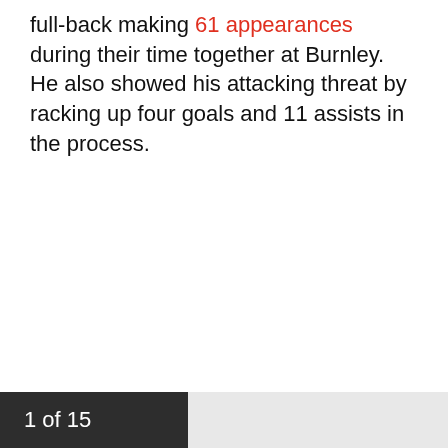full-back making 61 appearances during their time together at Burnley. He also showed his attacking threat by racking up four goals and 11 assists in the process.
1 of 15